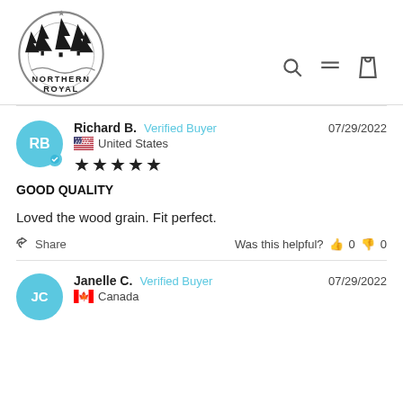[Figure (logo): Northern Royal logo with circular badge containing pine trees and 'NORTHERN ROYAL' text]
[Figure (other): Navigation icons: search magnifier, hamburger menu, shopping bag]
Richard B.  Verified Buyer  07/29/2022
United States
★★★★★
GOOD QUALITY
Loved the wood grain. Fit perfect.
Share   Was this helpful?  👍 0  👎 0
Janelle C.  Verified Buyer  07/29/2022
Canada